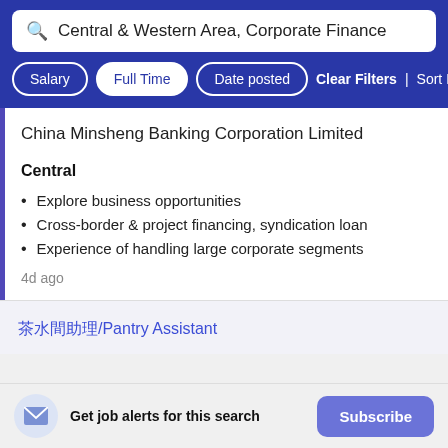Central & Western Area, Corporate Finance
Salary | Full Time | Date posted | Clear Filters | Sort By Rele
China Minsheng Banking Corporation Limited
Central
Explore business opportunities
Cross-border & project financing, syndication loan
Experience of handling large corporate segments
4d ago
茶水間助理/Pantry Assistant
Get job alerts for this search
Subscribe